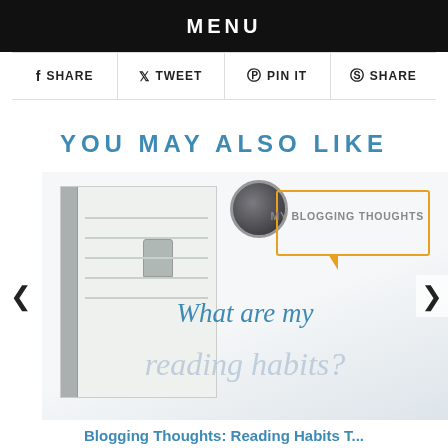MENU
f  SHARE    TWEET    PIN IT    SHARE
YOU MAY ALSO LIKE
[Figure (photo): Blog post thumbnail image showing a notebook, coffee cup, and an orange speech bubble with text 'MY BLOGGING THOUGHTS', overlaid with italic text 'What are my reading habits?']
Blogging Thoughts: Reading Habits T...
@JUSTCOMMONLY